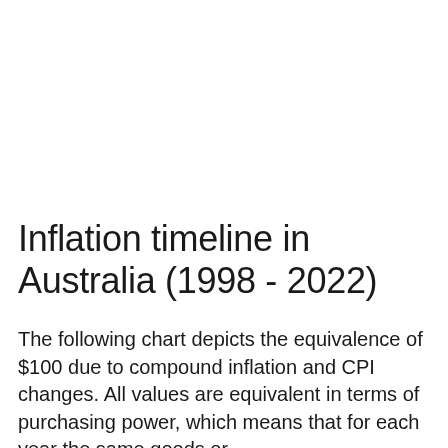Inflation timeline in Australia (1998 - 2022)
The following chart depicts the equivalence of $100 due to compound inflation and CPI changes. All values are equivalent in terms of purchasing power, which means that for each year the same goods or